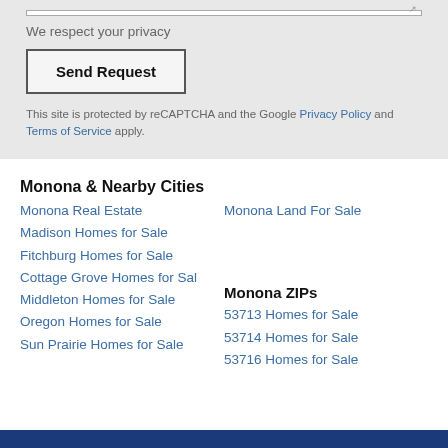We respect your privacy
Send Request
This site is protected by reCAPTCHA and the Google Privacy Policy and Terms of Service apply.
Monona & Nearby Cities
Monona Real Estate
Madison Homes for Sale
Fitchburg Homes for Sale
Cottage Grove Homes for Sal
Middleton Homes for Sale
Oregon Homes for Sale
Sun Prairie Homes for Sale
Monona Land For Sale
Monona ZIPs
53713 Homes for Sale
53714 Homes for Sale
53716 Homes for Sale